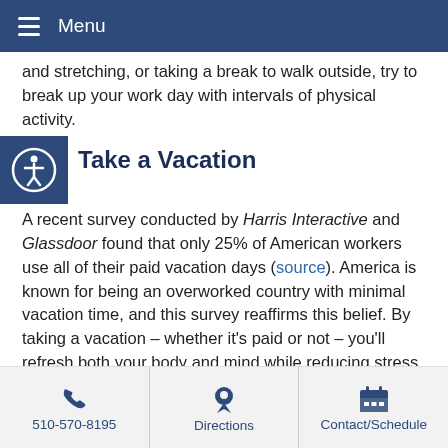Menu
and stretching, or taking a break to walk outside, try to break up your work day with intervals of physical activity.
Take a Vacation
A recent survey conducted by Harris Interactive and Glassdoor found that only 25% of American workers use all of their paid vacation days (source). America is known for being an overworked country with minimal vacation time, and this survey reaffirms this belief. By taking a vacation – whether it's paid or not – you'll refresh both your body and mind while reducing stress levels.
#3) Reinforce Your Job Position
To reduce work-related stress, you must first identify its root cause. One of the most common causes of work-related stress is fear of being fired or laid off. By reinforcing your job position
510-570-8195  Directions  Contact/Schedule